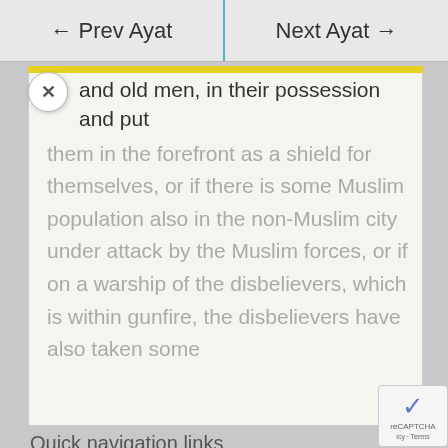← Prev Ayat | Next Ayat →
and old men, in their possession and put them in the forefront as a shield for themselves, or if there is some Muslim population also in the non-Muslim city under attack by the Muslim forces, or if on a warship of the disbelievers, which is within gunfire, the disbelievers have also taken some
Quick navigation links
Free 99 Names of Allah Course
Join us for our email series, three times a week.
1  .  2  .  3  .  4  .  5  .  6  .  7  .  8  .  9
10  .  11  .  12  .  13  .  14  .  15  .  16
17  .  18  .  19  .  20  .  21  .  22  .  23